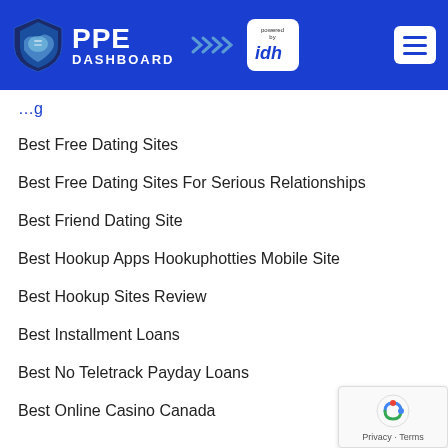[Figure (logo): PPE Dashboard logo with shield icon and IDH powered by badge, blue header with hamburger menu]
Best Free Dating Sites
Best Free Dating Sites For Serious Relationships
Best Friend Dating Site
Best Hookup Apps Hookuphotties Mobile Site
Best Hookup Sites Review
Best Installment Loans
Best No Teletrack Payday Loans
Best Online Casino Canada